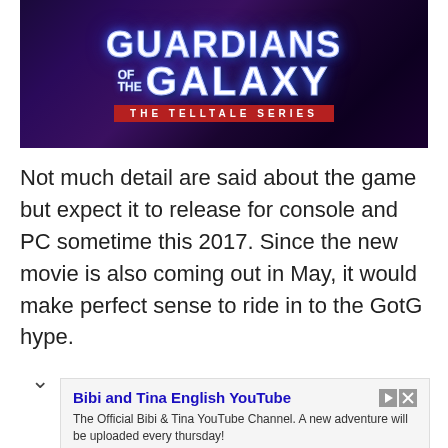[Figure (illustration): Guardians of the Galaxy: The Telltale Series logo on a dark purple/red space background]
Not much detail are said about the game but expect it to release for console and PC sometime this 2017. Since the new movie is also coming out in May, it would make perfect sense to ride in to the GotG hype.
[Figure (screenshot): Advertisement for Bibi and Tina English YouTube channel with Subscribe button]